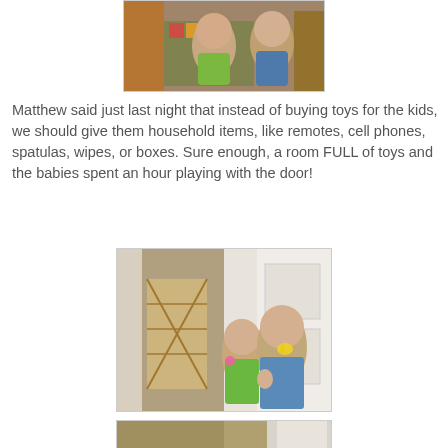[Figure (photo): Two babies/toddlers from behind, playing near colorful toys and a bookshelf. One wears a green top, the other a blue plaid shirt.]
Matthew said just last night that instead of buying toys for the kids, we should give them household items, like remotes, cell phones, spatulas, wipes, or boxes. Sure enough, a room FULL of toys and the babies spent an hour playing with the door!
[Figure (photo): Two babies near a door. Left: a baby gate visible. Right: a smiling baby girl in green and a baby boy in blue plaid shirt with a yellow pacifier, waving.]
[Figure (photo): Partial view of babies near a door, bottom portion cropped.]